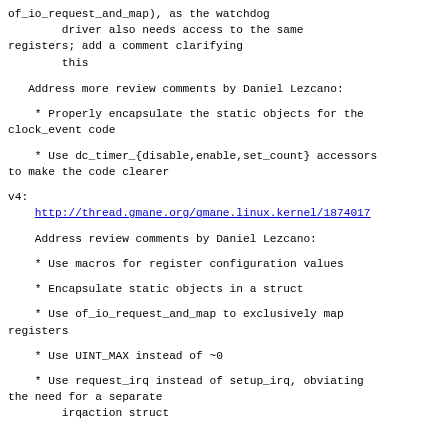of_io_request_and_map), as the watchdog
        driver also needs access to the same registers; add a comment clarifying
        this
Address more review comments by Daniel Lezcano:
* Properly encapsulate the static objects for the clock_event code
* Use dc_timer_{disable,enable,set_count} accessors to make the code clearer
v4:
    http://thread.gmane.org/gmane.linux.kernel/1874017
Address review comments by Daniel Lezcano:
* Use macros for register configuration values
* Encapsulate static objects in a struct
* Use of_io_request_and_map to exclusively map registers
* Use UINT_MAX instead of ~0
* Use request_irq instead of setup_irq, obviating the need for a separate
        irqaction struct